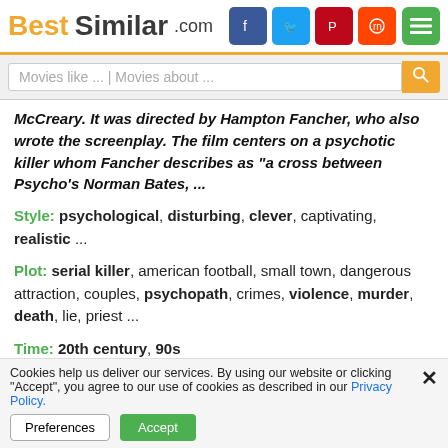BestSimilar.com
Movies like ... | Movies about ...
McCreary. It was directed by Hampton Fancher, who also wrote the screenplay. The film centers on a psychotic killer whom Fancher describes as "a cross between Psycho's Norman Bates, ...
Style: psychological, disturbing, clever, captivating, realistic ...
Plot: serial killer, american football, small town, dangerous attraction, couples, psychopath, crimes, violence, murder, death, lie, priest ...
Time: 20th century, 90s
Place: oregon, vancouver
[Figure (other): Dark movie play button with text MOVIE and play arrows]
Cookies help us deliver our services. By using our website or clicking "Accept", you agree to our use of cookies as described in our Privacy Policy.